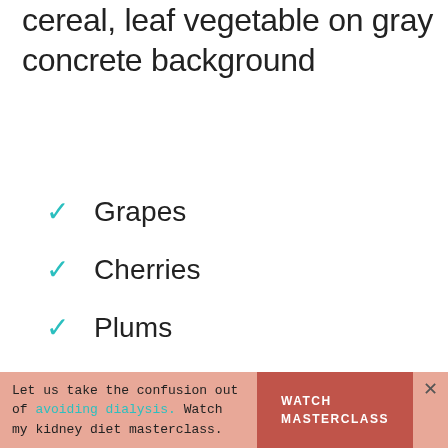cereal, leaf vegetable on gray concrete background
Grapes
Cherries
Plums
Peaches
Strawberries
Let us take the confusion out of avoiding dialysis. Watch my kidney diet masterclass. WATCH MASTERCLASS